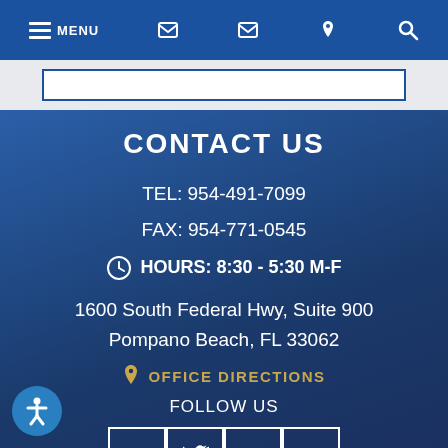MENU
CONTACT US
TEL: 954-491-7099
FAX: 954-771-0545
HOURS: 8:30 - 5:30 M-F
1600 South Federal Hwy, Suite 900
Pompano Beach, FL 33062
OFFICE DIRECTIONS
FOLLOW US